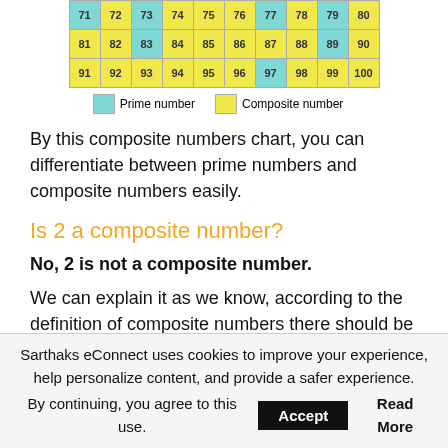[Figure (table-as-image): Color-coded number chart showing prime numbers (teal/cyan) and composite numbers (yellow) for numbers 71-100 arranged in rows of 10.]
Prime number   Composite number
By this composite numbers chart, you can differentiate between prime numbers and composite numbers easily.
Is 2 a composite number?
No, 2 is not a composite number.
We can explain it as we know, according to the definition of composite numbers there should be at least
Sarthaks eConnect uses cookies to improve your experience, help personalize content, and provide a safer experience.
By continuing, you agree to this use.  Accept  Read More